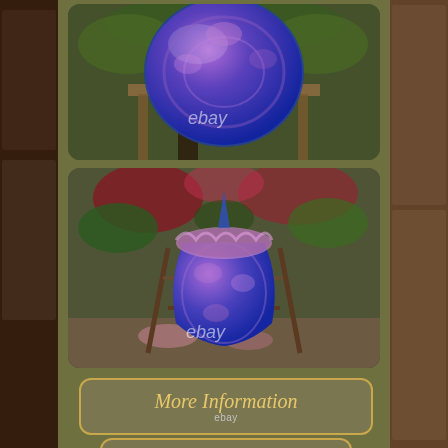[Figure (photo): Close-up photo of an iridescent blue and purple carnival glass globe or ball-shaped object with floral pattern, shown on a stand outdoors with greenery in background. eBay watermark visible.]
[Figure (photo): Full view photo of an iridescent blue and purple carnival glass vase or pitcher with ruffled top rim, sitting on a decorative metal stand outdoors with flowers and greenery in background. eBay watermark visible.]
More Information
ebay
Visit Prices